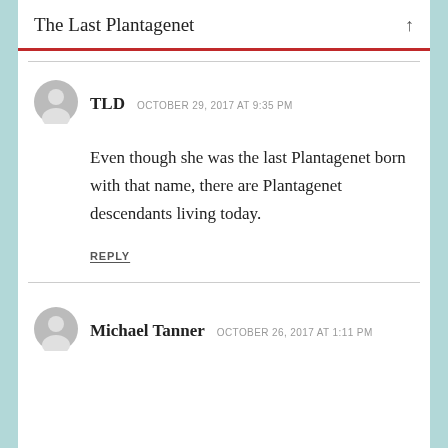The Last Plantagenet ↑
TLD   OCTOBER 29, 2017 AT 9:35 PM
Even though she was the last Plantagenet born with that name, there are Plantagenet descendants living today.
REPLY
Michael Tanner   OCTOBER 26, 2017 AT 1:11 PM